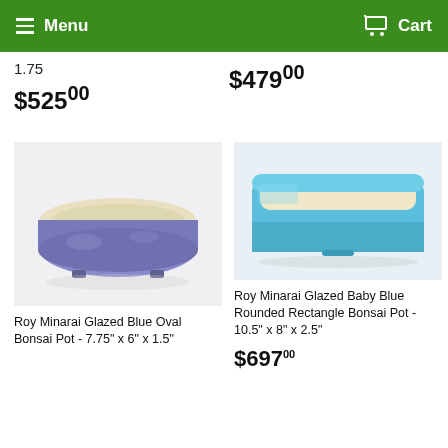Menu  Cart
1.75
$479.00
$525.00
[Figure (photo): Roy Minarai Glazed Blue Oval Bonsai Pot, viewed from front, blue/purple glaze with cream interior, on white surface]
Roy Minarai Glazed Blue Oval Bonsai Pot - 7.75" x 6" x 1.5"
[Figure (photo): Roy Minarai Glazed Baby Blue Rounded Rectangle Bonsai Pot, viewed from front, light blue glaze with cream interior]
Roy Minarai Glazed Baby Blue Rounded Rectangle Bonsai Pot - 10.5" x 8" x 2.5"
$697.00